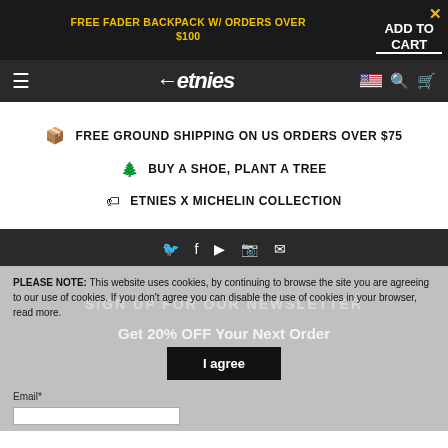FREE FADER BACKPACK W/ ORDERS OVER $100 | ADD TO CART
[Figure (screenshot): Etnies brand navigation bar with hamburger menu, etnies logo, US flag, search and cart icons]
FREE GROUND SHIPPING ON US ORDERS OVER $75
BUY A SHOE, PLANT A TREE
ETNIES X MICHELIN COLLECTION
[Figure (screenshot): Social media icons: Twitter, Facebook, YouTube, Instagram, Email]
PLEASE NOTE: This website uses cookies, by continuing to browse the site you are agreeing to our use of cookies. If you don't agree you can disable the use of cookies in your browser, read more.
SIGN UP FOR OUR NEWSLETTER
Get 20% OFF Your Next Order
I agree
Email*